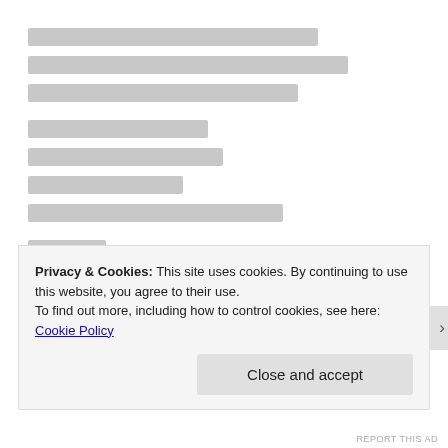[redacted placeholder lines - Japanese/CJK text blocks]
[redacted placeholder lines - Japanese/CJK text blocks]
[redacted placeholder lines - Japanese/CJK text blocks]
Privacy & Cookies: This site uses cookies. By continuing to use this website, you agree to their use. To find out more, including how to control cookies, see here: Cookie Policy
Close and accept
REPORT THIS AD